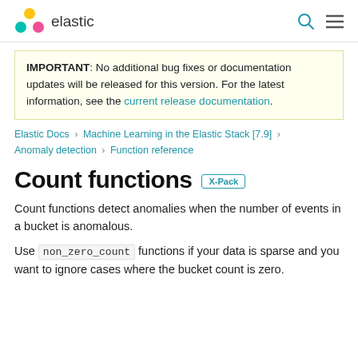elastic
IMPORTANT: No additional bug fixes or documentation updates will be released for this version. For the latest information, see the current release documentation.
Elastic Docs › Machine Learning in the Elastic Stack [7.9] › Anomaly detection › Function reference
Count functions X-Pack
Count functions detect anomalies when the number of events in a bucket is anomalous.
Use non_zero_count functions if your data is sparse and you want to ignore cases where the bucket count is zero.